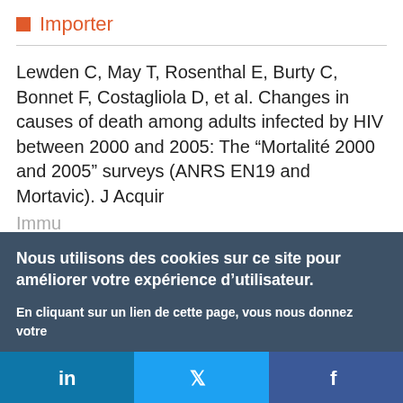Importer
Lewden C, May T, Rosenthal E, Burty C, Bonnet F, Costagliola D, et al. Changes in causes of death among adults infected by HIV between 2000 and 2005: The “Mortalité 2000 and 2005” surveys (ANRS EN19 and Mortavic). J Acquir
Nous utilisons des cookies sur ce site pour améliorer votre expérience d’utilisateur.

En cliquant sur un lien de cette page, vous nous donnez votre consentement de définir des cookies.

Oui, je suis d’accord   Plus d’infos
[Figure (infographic): Social media share bar with LinkedIn (blue), Twitter (light blue), Facebook (dark blue) icons]